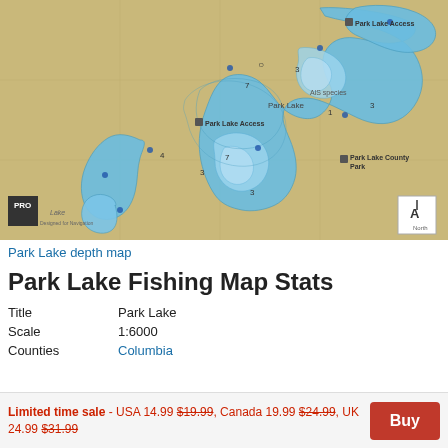[Figure (map): Park Lake bathymetric/depth contour map showing lake outline with depth contours, surrounding tan/sandy terrain, markers for Park Lake Access points and Park Lake County Park, with PRO logo in lower left and north arrow in lower right.]
Park Lake depth map
Park Lake Fishing Map Stats
| Title | Park Lake |
| Scale | 1:6000 |
| Counties | Columbia |
Limited time sale - USA 14.99 $19.99, Canada 19.99 $24.99, UK 24.99 $31.99